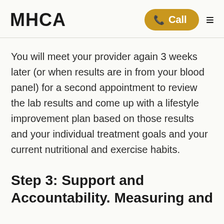MHCA
You will meet your provider again 3 weeks later (or when results are in from your blood panel) for a second appointment to review the lab results and come up with a lifestyle improvement plan based on those results and your individual treatment goals and your current nutritional and exercise habits.
Step 3: Support and Accountability. Measuring and